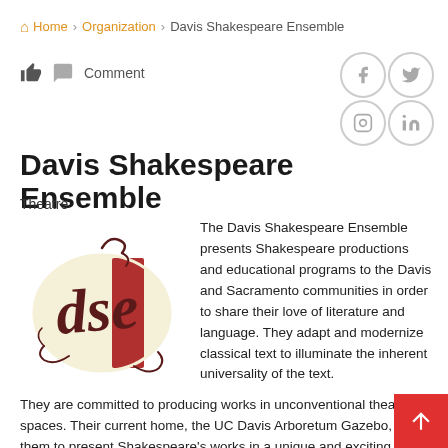Home > Organization > Davis Shakespeare Ensemble
👍  💬 Comment
Davis Shakespeare Ensemble
Theatre
[Figure (logo): Davis Shakespeare Ensemble logo — stylized 'dse' letters in dark red/maroon on a cream and red oval background with decorative swirls]
The Davis Shakespeare Ensemble presents Shakespeare productions and educational programs to the Davis and Sacramento communities in order to share their love of literature and language. They adapt and modernize classical text to illuminate the inherent universality of the text.
They are committed to producing works in unconventional theatrical spaces. Their current home, the UC Davis Arboretum Gazebo, allows them to present Shakespeare's works in a unique and exciting outdoor setting.